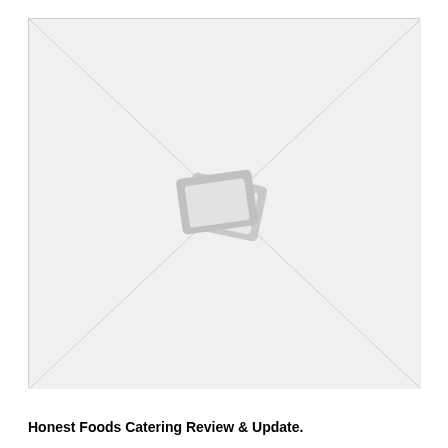[Figure (photo): Placeholder image with crossed diagonal lines and a small image icon in the center, indicating a missing or unavailable photograph.]
Honest Foods Catering Review & Update.